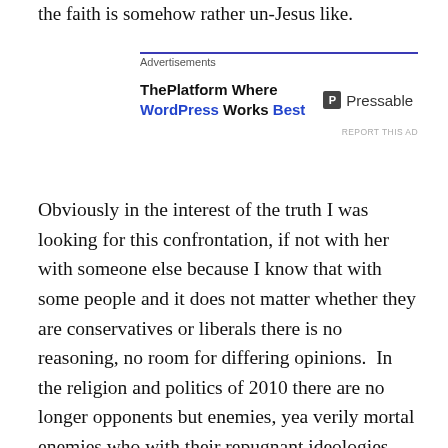the faith is somehow rather un-Jesus like.
[Figure (other): Advertisement block for Pressable / WordPress hosting. Label 'Advertisements' at top with blue underline. Ad text: 'ThePlatform Where WordPress Works Best' with Pressable logo. 'REPORT THIS AD' link at bottom right.]
Obviously in the interest of the truth I was looking for this confrontation, if not with her with someone else because I know that with some people and it does not matter whether they are conservatives or liberals there is no reasoning, no room for differing opinions.  In the religion and politics of 2010 there are no longer opponents but enemies, yea verily mortal enemies who with their repugnant ideologies must be crushed and in fact those close to them that deviate are even worse for they have betrayed the respective orthodoxy of the zealots of the left or the right.  In my rather brief public life writing on this site I have found the nastiest to be the religious conservatives